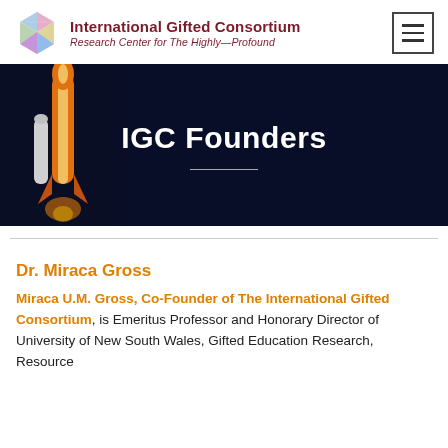International Gifted Consortium – Research Center for The Highly—Profound
[Figure (illustration): IGC logo: colorful polygonal gem shape on left, text on right]
[Figure (photo): Hero banner with space shuttle rocket on dark navy background with title IGC Founders and horizontal divider line]
IGC Founders
Dr. Miraca Gross
Miraca U.M. Gross, Co-Founder of The International Gifted Consortium, is Emeritus Professor and Honorary Director of University of New South Wales, Gifted Education Research, Resource